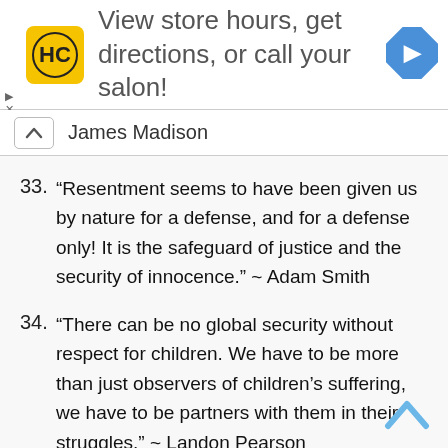[Figure (screenshot): Advertisement banner for Haircuttery with logo, text 'View store hours, get directions, or call your salon!' and a blue navigation arrow icon]
James Madison
33. “Resentment seems to have been given us by nature for a defense, and for a defense only! It is the safeguard of justice and the security of innocence.” ~ Adam Smith
34. “There can be no global security without respect for children. We have to be more than just observers of children’s suffering, we have to be partners with them in their struggles.” ~ Landon Pearson